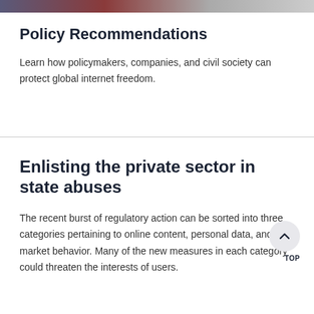[Figure (photo): Colored image strip at the top of the page, partially visible]
Policy Recommendations
Learn how policymakers, companies, and civil society can protect global internet freedom.
Enlisting the private sector in state abuses
The recent burst of regulatory action can be sorted into three categories pertaining to online content, personal data, and market behavior. Many of the new measures in each category could threaten the interests of users.